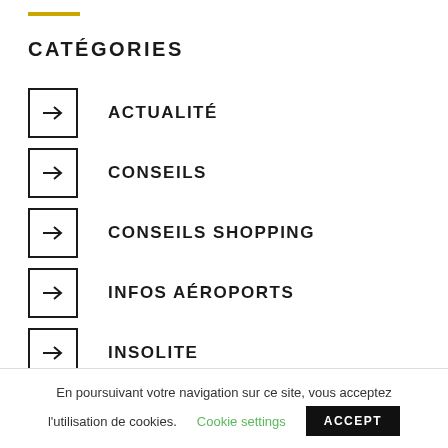CATÉGORIES
ACTUALITÉ
CONSEILS
CONSEILS SHOPPING
INFOS AÉROPORTS
INSOLITE
En poursuivant votre navigation sur ce site, vous acceptez l'utilisation de cookies.
Cookie settings
ACCEPT